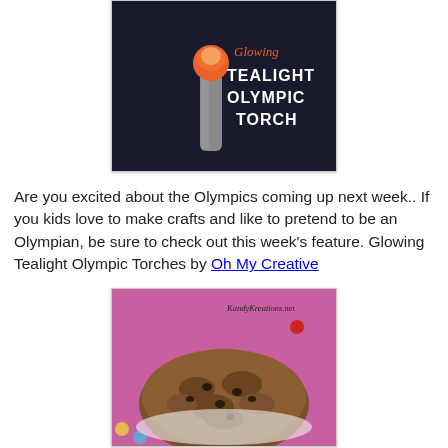[Figure (photo): Photo of a glowing tealight Olympic torch craft — an orange-topped tube against a dark navy background with text 'Glowing TEALIGHT OLYMPIC TORCH' in white and orange script.]
Are you excited about the Olympics coming up next week.. If you kids love to make crafts and like to pretend to be an Olympian, be sure to check out this week's feature. Glowing Tealight Olympic Torches by Oh My Creative
[Figure (photo): Photo of cookies (oatmeal chocolate chip) on a colorful background with watermark text 'KandyKreations.net'.]